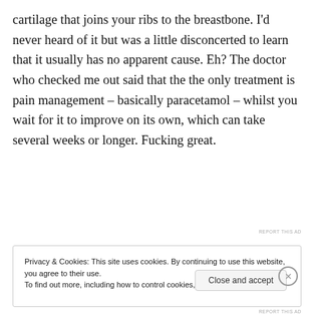cartilage that joins your ribs to the breastbone. I'd never heard of it but was a little disconcerted to learn that it usually has no apparent cause. Eh? The doctor who checked me out said that the the only treatment is pain management – basically paracetamol – whilst you wait for it to improve on its own, which can take several weeks or longer. Fucking great.
[Figure (other): Advertisement banner for Day One journal app with blue background, phone image, text 'Your Journal for life' and DAYONE logo]
Privacy & Cookies: This site uses cookies. By continuing to use this website, you agree to their use.
To find out more, including how to control cookies, see here: Cookie Policy